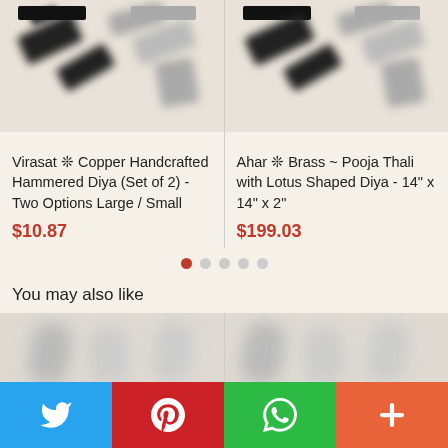[Figure (photo): Blurred product image of copper hammered diya (left column)]
[Figure (photo): Blurred product image of brass pooja thali (right column)]
Virasat ❊ Copper Handcrafted Hammered Diya (Set of 2) - Two Options Large / Small
$10.87
Ahar ❊ Brass ~ Pooja Thali with Lotus Shaped Diya - 14" x 14" x 2"
$199.03
You may also like
[Figure (photo): Blurred bottom product image left]
[Figure (photo): Blurred bottom product image right]